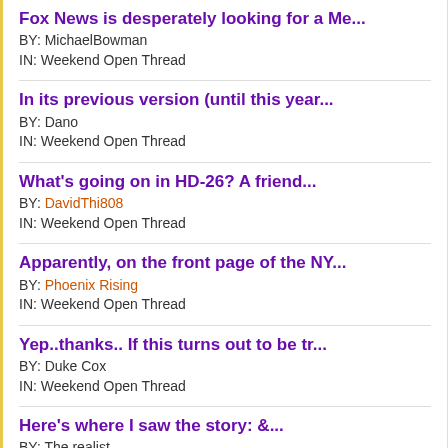Fox News is desperately looking for a Me...
BY: MichaelBowman
IN: Weekend Open Thread
In its previous version (until this year...
BY: Dano
IN: Weekend Open Thread
What's going on in HD-26? A friend...
BY: DavidThi808
IN: Weekend Open Thread
Apparently, on the front page of the NY...
BY: Phoenix Rising
IN: Weekend Open Thread
Yep..thanks.. If this turns out to be tr...
BY: Duke Cox
IN: Weekend Open Thread
Here's where I saw the story: &...
BY: The realist
IN: Weekend Open Thread
Looks like another bumper crop of Trump...